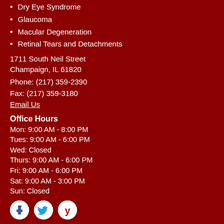Dry Eye Syndrome
Glaucoma
Macular Degeneration
Retinal Tears and Detachments
1711 South Neil Street
Champaign, IL 61820
Phone: (217) 359-2390
Fax: (217) 359-3180
Email Us
Office Hours
Mon: 9:00 AM - 8:00 PM
Tues: 9:00 AM - 6:00 PM
Wed: Closed
Thurs: 9:00 AM - 6:00 PM
Fri: 9:00 AM - 6:00 PM
Sat: 9:00 AM - 3:00 PM
Sun: Closed
[Figure (infographic): Social media icons: Facebook (blue F), Twitter (blue bird), Yelp (red burst)]